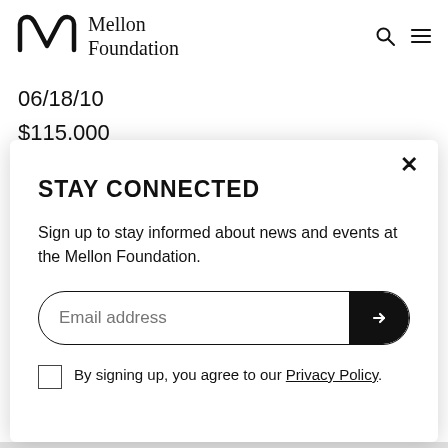Mellon Foundation
06/18/10
$115,000
Baltimore, MD, United States
STAY CONNECTED
Sign up to stay informed about news and events at the Mellon Foundation.
Email address
By signing up, you agree to our Privacy Policy.